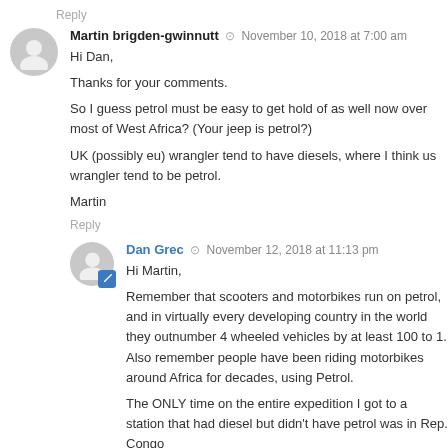Reply
Martin brigden-gwinnutt  ⊙  November 10, 2018 at 7:00 am
Hi Dan,

Thanks for your comments.

So I guess petrol must be easy to get hold of as well now over most of West Africa? (Your jeep is petrol?)
UK (possibly eu) wrangler tend to have diesels, where I think us wrangler tend to be petrol.
Martin
Reply
Dan Grec  ⊙  November 12, 2018 at 11:13 pm
Hi Martin,

Remember that scooters and motorbikes run on petrol, and in virtually every developing country in the world they outnumber 4 wheeled vehicles by at least 100 to 1. Also remember people have been riding motorbikes around Africa for decades, using Petrol.
The ONLY time on the entire expedition I got to a station that had diesel but didn't have petrol was in Rep. Congo